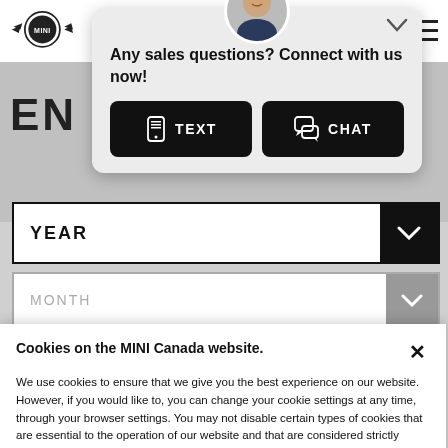[Figure (screenshot): MINI Canada website screenshot showing logo, navigation icons (location pin, hamburger menu), background page with partially visible text 'EN...TY', year dropdown selector, and month dropdown selector]
Any sales questions? Connect with us now!
TEXT
CHAT
YEAR
MONTH
Cookies on the MINI Canada website.
We use cookies to ensure that we give you the best experience on our website. However, if you would like to, you can change your cookie settings at any time, through your browser settings. You may not disable certain types of cookies that are essential to the operation of our website and that are considered strictly necessary cookies. For example, we use strictly necessary cookies to provide you with regional pricing information. You can find detailed information about how cookies are used on this website by clicking here.